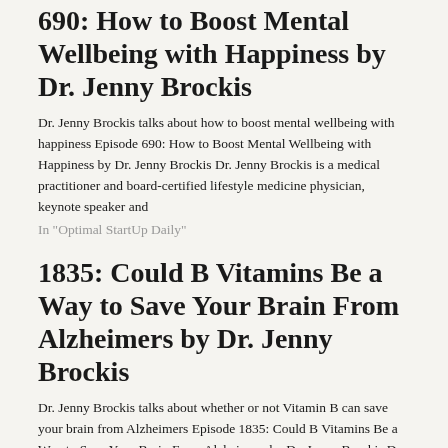690: How to Boost Mental Wellbeing with Happiness by Dr. Jenny Brockis
Dr. Jenny Brockis talks about how to boost mental wellbeing with happiness Episode 690: How to Boost Mental Wellbeing with Happiness by Dr. Jenny Brockis Dr. Jenny Brockis is a medical practitioner and board-certified lifestyle medicine physician, keynote speaker and
In "Optimal StartUp Daily"
1835: Could B Vitamins Be a Way to Save Your Brain From Alzheimers by Dr. Jenny Brockis
Dr. Jenny Brockis talks about whether or not Vitamin B can save your brain from Alzheimers Episode 1835: Could B Vitamins Be a Way to Save Your Brain From Alzheimers by Dr. Jenny Brockis Dr. Jenny Brockis is a medical practitioner and board-certified lifestyle medicine